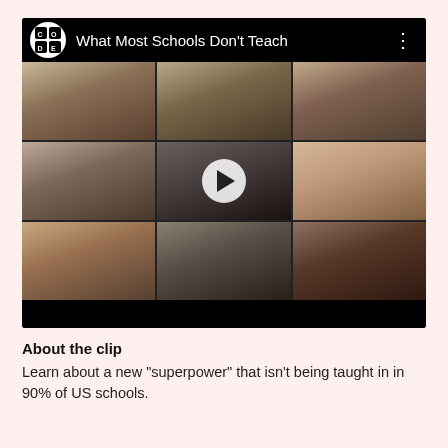[Figure (screenshot): YouTube-style video thumbnail showing a 3x3 grid of faces of well-known tech figures with a play button in the center cell, titled 'What Most Schools Don't Teach' with a CODE.org logo.]
About the clip
Learn about a new "superpower" that isn't being taught in in 90% of US schools.